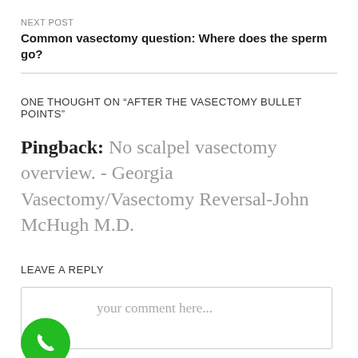NEXT POST
Common vasectomy question: Where does the sperm go?
ONE THOUGHT ON “AFTER THE VASECTOMY BULLET POINTS”
Pingback: No scalpel vasectomy overview. - Georgia Vasectomy/Vasectomy Reversal-John McHugh M.D.
LEAVE A REPLY
Enter your comment here...